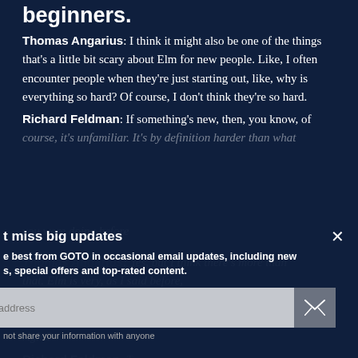beginners.
Thomas Angarius: I think it might also be one of the things that's a little bit scary about Elm for new people. Like, I often encounter people when they're just starting out, like, why is everything so hard? Of course, I don't think they're so hard.
Richard Feldman: If something's new, then, you know, of course, it's unfamiliar. It's by definition harder than what you were doing before
Thomas Angarius: Yes, but I think there's more than that. Elm is very, as I said before, opinionated in how it does things. And it's very restrictive. You can't just go out and touch the DOM right?
Richard Feldman: True
Thomas Angarius: And, like, you're used to in JavaScript. So, hitting these roadblocks, I think, is a source of
t miss big updates
e best from GOTO in occasional email updates, including new s, special offers and top-rated content.
al address
not share your information with anyone